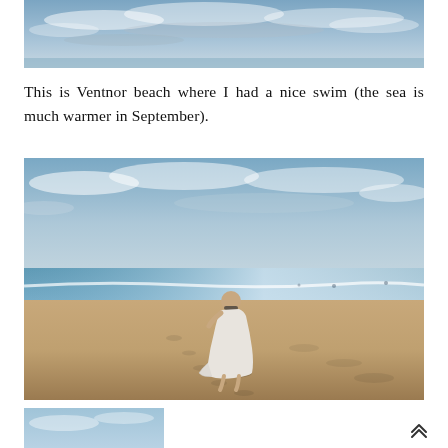[Figure (photo): Partial beach/sky photo at the top of the page, showing cloudy sky over water]
This is Ventnor beach where I had a nice swim (the sea is much warmer in September).
[Figure (photo): Person in a white dress walking on Ventnor beach with the sea and sky in the background]
[Figure (photo): Partial photo at the bottom left showing blue sky/water]